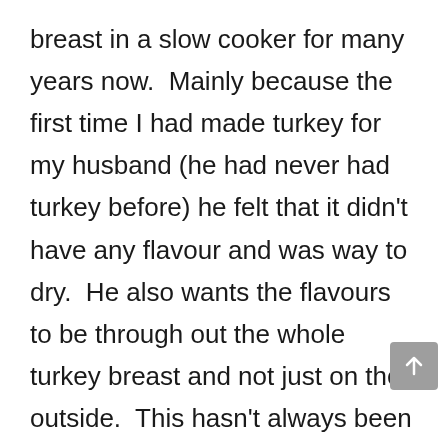breast in a slow cooker for many years now.  Mainly because the first time I had made turkey for my husband (he had never had turkey before) he felt that it didn't have any flavour and was way to dry.  He also wants the flavours to be through out the whole turkey breast and not just on the outside.  This hasn't always been an easy thing to do.  I would make a paste of spices and make slits in the turkey, so that there was spices through out the turkey as I did in this recipe:  Spiced Crock Pot Turkey Breast.